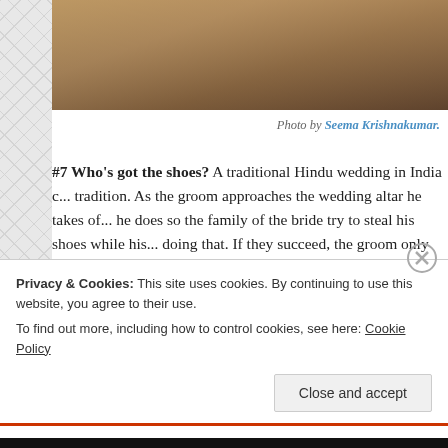[Figure (photo): Partial photo of a wedding scene with warm brown/golden tones, partially cropped at top of page]
Photo by Seema Krishnakumar.
#7 Who's got the shoes? A traditional Hindu wedding in India c... tradition. As the groom approaches the wedding altar he takes o... he does so the family of the bride try to steal his shoes while his... doing that. If they succeed, the groom only gets his shoes back f... pays a fee for it. Now that's what I'd call an action themed wedd...
Privacy & Cookies: This site uses cookies. By continuing to use this website, you agree to their use.
To find out more, including how to control cookies, see here: Cookie Policy
Close and accept